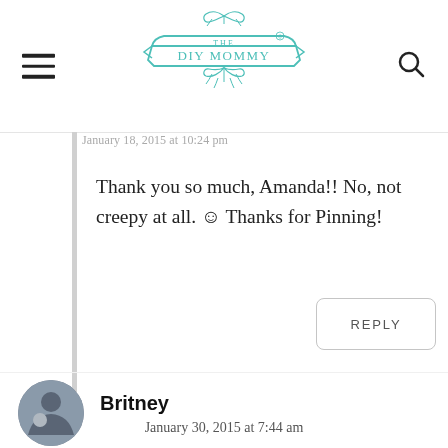[Figure (logo): The DIY Mommy logo in teal/turquoise ink style with banner and decorative leaves]
January 18, 2015 at 10:24 pm
Thank you so much, Amanda!! No, not creepy at all. ☺ Thanks for Pinning!
REPLY
Britney
January 30, 2015 at 7:44 am
I have this post featured on my blog!